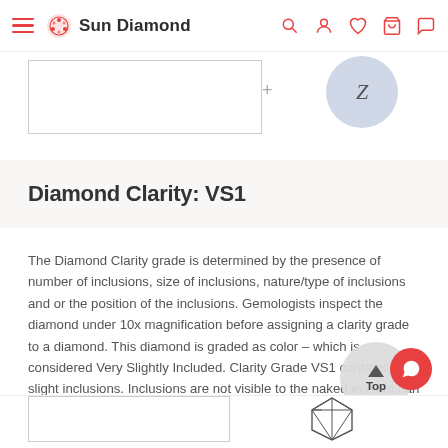Sun Diamond
[Figure (illustration): Partial view of two elements: a rectangular outlined box on the left and a gray circle with letter Z on the right, with a plus sign between them]
Diamond Clarity: VS1
The Diamond Clarity grade is determined by the presence of number of inclusions, size of inclusions, nature/type of inclusions and or the position of the inclusions. Gemologists inspect the diamond under 10x magnification before assigning a clarity grade to a diamond. This diamond is graded as color – which is considered Very Slightly Included. Clarity Grade VS1 contains very slight inclusions. Inclusions are not visible to the naked eye but can be spotted with some effort under 10x magnification and are categorized as minor in nature.
[Figure (illustration): Partial view of bottom section showing a rectangular outlined box on the left and a diamond wireframe icon on the right]